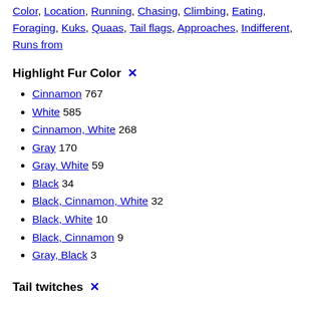Color, Location, Running, Chasing, Climbing, Eating, Foraging, Kuks, Quaas, Tail flags, Approaches, Indifferent, Runs from
Highlight Fur Color ✕
Cinnamon 767
White 585
Cinnamon, White 268
Gray 170
Gray, White 59
Black 34
Black, Cinnamon, White 32
Black, White 10
Black, Cinnamon 9
Gray, Black 3
Tail twitches ✕